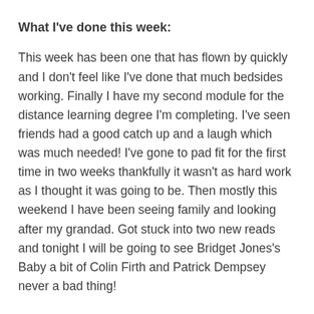What I've done this week:
This week has been one that has flown by quickly and I don't feel like I've done that much bedsides working. Finally I have my second module for the distance learning degree I'm completing. I've seen friends had a good catch up and a laugh which was much needed! I've gone to pad fit for the first time in two weeks thankfully it wasn't as hard work as I thought it was going to be. Then mostly this weekend I have been seeing family and looking after my grandad. Got stuck into two new reads and tonight I will be going to see Bridget Jones's Baby a bit of Colin Firth and Patrick Dempsey never a bad thing!